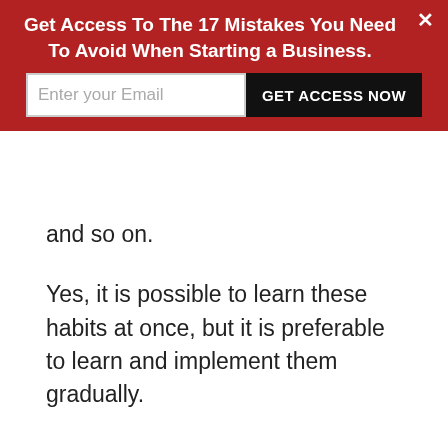[Figure (screenshot): Red banner popup with bold white text headline, email input field, and black GET ACCESS NOW button, with white X close button in top right corner]
and so on.
Yes, it is possible to learn these habits at once, but it is preferable to learn and implement them gradually.